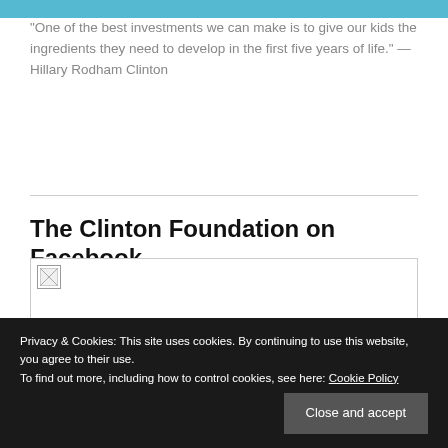[Figure (photo): Partial top of a photo showing a person in a blue/teal top, cropped to a thin strip at the top of the page.]
“One of the best investments we can make is to give our kids the ingredients they need to develop in the first five years of life.” — Hillary Rodham Clinton
The Clinton Foundation on Facebook
[Figure (photo): Facebook image thumbnail placeholder (broken image icon) inside a bordered box.]
Privacy & Cookies: This site uses cookies. By continuing to use this website, you agree to their use. To find out more, including how to control cookies, see here: Cookie Policy
Close and accept
Flint Child Health & Development Fund